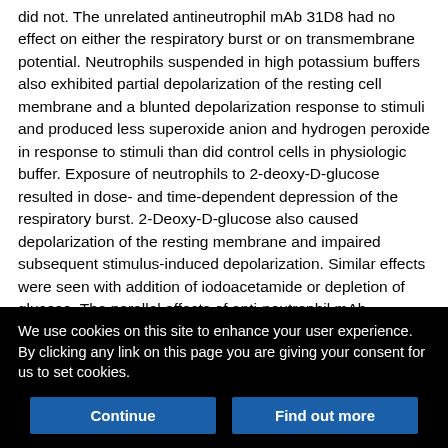did not. The unrelated antineutrophil mAb 31D8 had no effect on either the respiratory burst or on transmembrane potential. Neutrophils suspended in high potassium buffers also exhibited partial depolarization of the resting cell membrane and a blunted depolarization response to stimuli and produced less superoxide anion and hydrogen peroxide in response to stimuli than did control cells in physiologic buffer. Exposure of neutrophils to 2-deoxy-D-glucose resulted in dose- and time-dependent depression of the respiratory burst. 2-Deoxy-D-glucose also caused depolarization of the resting membrane and impaired subsequent stimulus-induced depolarization. Similar effects were seen with addition of iodoacetamide or depletion of glucose. The parallel effects of anti-neutrophil mAb, depolarizing buffers, and
We use cookies on this site to enhance your user experience. By clicking any link on this page you are giving your consent for us to set cookies.
Continue
Find out more